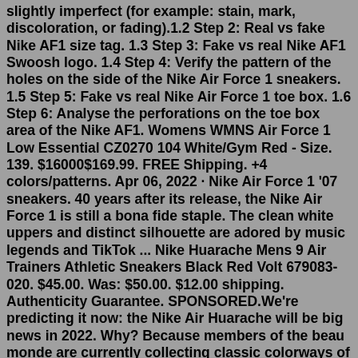slightly imperfect (for example: stain, mark, discoloration, or fading).1.2 Step 2: Real vs fake Nike AF1 size tag. 1.3 Step 3: Fake vs real Nike AF1 Swoosh logo. 1.4 Step 4: Verify the pattern of the holes on the side of the Nike Air Force 1 sneakers. 1.5 Step 5: Fake vs real Nike Air Force 1 toe box. 1.6 Step 6: Analyse the perforations on the toe box area of the Nike AF1. Womens WMNS Air Force 1 Low Essential CZ0270 104 White/Gym Red - Size. 139. $16000$169.99. FREE Shipping. +4 colors/patterns. Apr 06, 2022 · Nike Air Force 1 '07 sneakers. 40 years after its release, the Nike Air Force 1 is still a bona fide staple. The clean white uppers and distinct silhouette are adored by music legends and TikTok ... Nike Huarache Mens 9 Air Trainers Athletic Sneakers Black Red Volt 679083-020. $45.00. Was: $50.00. $12.00 shipping. Authenticity Guarantee. SPONSORED.We're predicting it now: the Nike Air Huarache will be big news in 2022. Why? Because members of the beau monde are currently collecting classic colorways of the 90s silhouette (including the